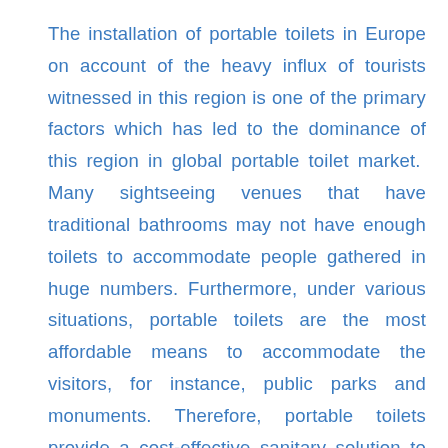The installation of portable toilets in Europe on account of the heavy influx of tourists witnessed in this region is one of the primary factors which has led to the dominance of this region in global portable toilet market. Many sightseeing venues that have traditional bathrooms may not have enough toilets to accommodate people gathered in huge numbers. Furthermore, under various situations, portable toilets are the most affordable means to accommodate the visitors, for instance, public parks and monuments. Therefore, portable toilets provide a cost-effective sanitary solution to the tourists. All these factors have driven the demand for portable toilets and have boosted the portable toilet rental industry in Europe.